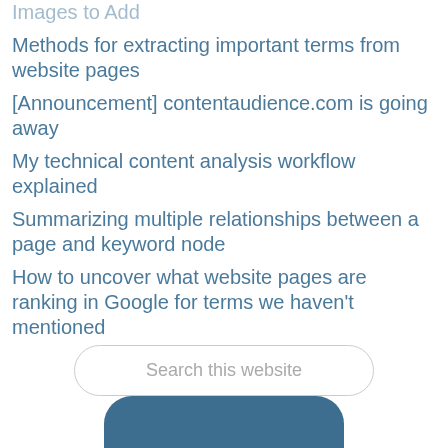Methods for extracting important terms from website pages
[Announcement] contentaudience.com is going away
My technical content analysis workflow explained
Summarizing multiple relationships between a page and keyword node
How to uncover what website pages are ranking in Google for terms we haven't mentioned